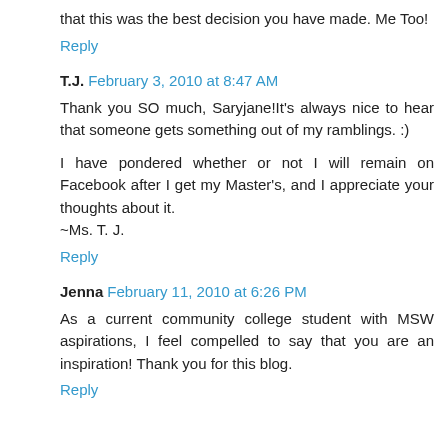that this was the best decision you have made. Me Too!
Reply
T.J.  February 3, 2010 at 8:47 AM
Thank you SO much, Saryjane!It's always nice to hear that someone gets something out of my ramblings. :)
I have pondered whether or not I will remain on Facebook after I get my Master's, and I appreciate your thoughts about it.
~Ms. T. J.
Reply
Jenna  February 11, 2010 at 6:26 PM
As a current community college student with MSW aspirations, I feel compelled to say that you are an inspiration! Thank you for this blog.
Reply